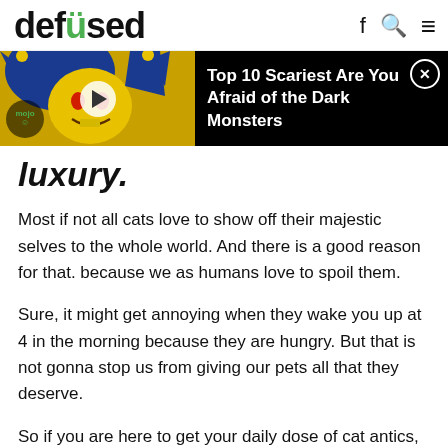defused
[Figure (screenshot): Video ad thumbnail showing a jester/clown character with blue and yellow hat, with play button overlay and mojo watermark. Ad text: Top 10 Scariest Are You Afraid of the Dark Monsters]
luxury.
Most if not all cats love to show off their majestic selves to the whole world. And there is a good reason for that. because we as humans love to spoil them.
Sure, it might get annoying when they wake you up at 4 in the morning because they are hungry. But that is not gonna stop us from giving our pets all that they deserve.
So if you are here to get your daily dose of cat antics,